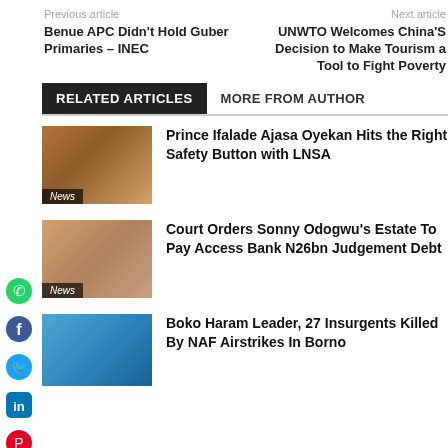Previous article | Next article
Benue APC Didn’T Hold Guber Primaries – INEC
UNWTO Welcomes China’S Decision to Make Tourism a Tool to Fight Poverty
RELATED ARTICLES | MORE FROM AUTHOR
[Figure (photo): News thumbnail showing people outdoors, tagged News]
Prince Ifalade Ajasa Oyekan Hits the Right Safety Button with LNSA
[Figure (photo): News thumbnail showing man portrait, tagged News]
Court Orders Sonny Odogwu’s Estate To Pay Access Bank N26bn Judgement Debt
[Figure (photo): News thumbnail showing military aircraft, tagged News]
Boko Haram Leader, 27 Insurgents Killed By NAF Airstrikes In Borno